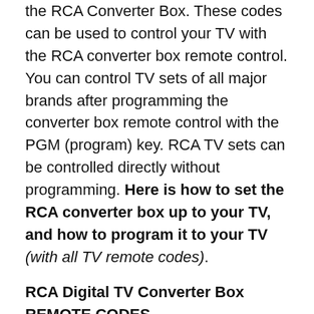the RCA Converter Box. These codes can be used to control your TV with the RCA converter box remote control. You can control TV sets of all major brands after programming the converter box remote control with the PGM (program) key. RCA TV sets can be controlled directly without programming. Here is how to set the RCA converter box up to your TV, and how to program it to your TV (with all TV remote codes).
RCA Digital TV Converter Box REMOTE CODES How to setup your RCA Digital Converter Box to your TV:
How To Connect RCA Digital Converter Box To TV After the RCA Converter Box is setup, refer to the TV remote code list below to use the RCA converter box remote on your specific TV. 3 Digit Remote Control Codes for RCA Digital TV Converter Box DTA800 series:  Admiral 002, 128